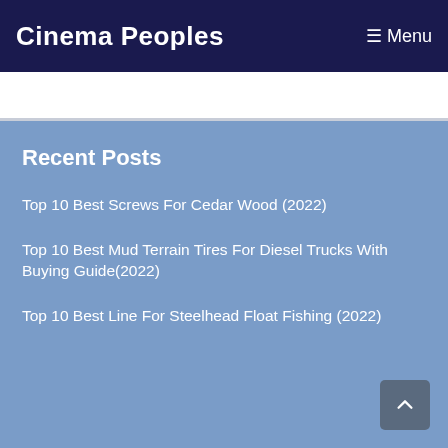Cinema Peoples
Recent Posts
Top 10 Best Screws For Cedar Wood (2022)
Top 10 Best Mud Terrain Tires For Diesel Trucks With Buying Guide(2022)
Top 10 Best Line For Steelhead Float Fishing (2022)